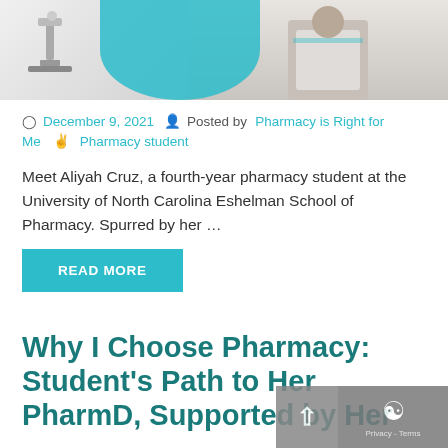[Figure (photo): Pharmacy student in white lab coat at University of North Carolina Eshelman School of Pharmacy, with teal/cyan graphic overlay shape, laboratory background on left]
December 9, 2021  Posted by Pharmacy is Right for Me  Pharmacy student
Meet Aliyah Cruz, a fourth-year pharmacy student at the University of North Carolina Eshelman School of Pharmacy. Spurred by her …
READ MORE
Why I Choose Pharmacy: Student's Path to Her PharmD, Supported by Her